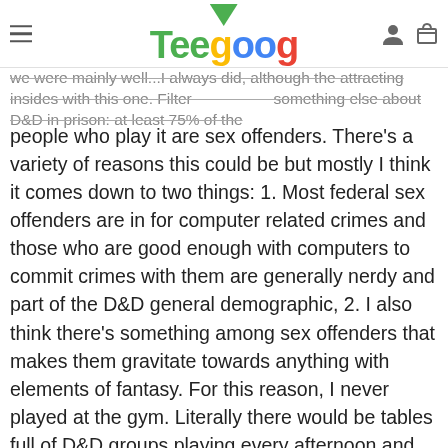Teegoog (logo with navigation icons)
we were mainly well...I always did, although the attracting insides with this one. Filter something else about D&D in prison: at least 75% of the people who play it are sex offenders. There's a variety of reasons this could be but mostly I think it comes down to two things: 1. Most federal sex offenders are in for computer related crimes and those who are good enough with computers to commit crimes with them are generally nerdy and part of the D&D general demographic, 2. I also think there's something among sex offenders that makes them gravitate towards anything with elements of fantasy. For this reason, I never played at the gym. Literally there would be tables full of D&D groups playing every afternoon and evening for hours and most of them were sex offenders. They weren't bad people. Most of them didn't have hands on offenses at all. But some of them were extremely weird, however, and associating with them in prison can create a guilt by association.